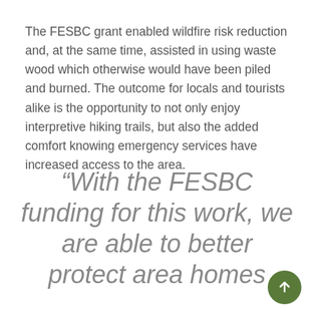The FESBC grant enabled wildfire risk reduction and, at the same time, assisted in using waste wood which otherwise would have been piled and burned. The outcome for locals and tourists alike is the opportunity to not only enjoy interpretive hiking trails, but also the added comfort knowing emergency services have increased access to the area.
“With the FESBC funding for this work, we are able to better protect area homes